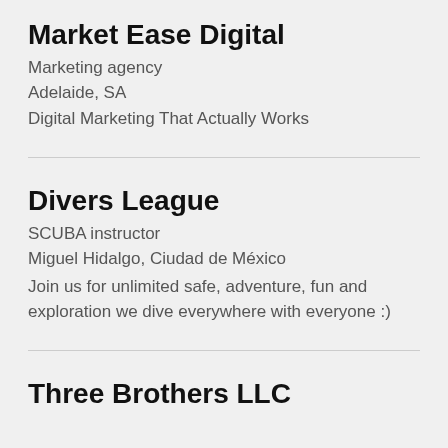Market Ease Digital
Marketing agency
Adelaide, SA
Digital Marketing That Actually Works
Divers League
SCUBA instructor
Miguel Hidalgo, Ciudad de México
Join us for unlimited safe, adventure, fun and exploration we dive everywhere with everyone :)
Three Brothers LLC